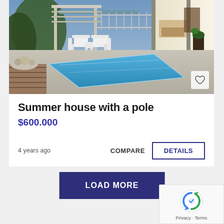[Figure (photo): Outdoor pool area of a modern home with white Adirondack chairs, pergola, and open living room visible through glass doors at dusk.]
Summer house with a pole
$600.000
4 years ago
COMPARE
DETAILS
LOAD MORE
Privacy · Terms